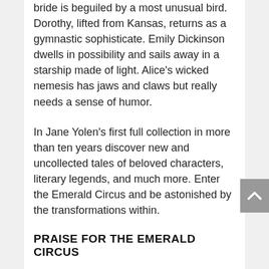bride is beguiled by a most unusual bird. Dorothy, lifted from Kansas, returns as a gymnastic sophisticate. Emily Dickinson dwells in possibility and sails away in a starship made of light. Alice's wicked nemesis has jaws and claws but really needs a sense of humor.
In Jane Yolen's first full collection in more than ten years discover new and uncollected tales of beloved characters, literary legends, and much more. Enter the Emerald Circus and be astonished by the transformations within.
PRAISE FOR THE EMERALD CIRCUS